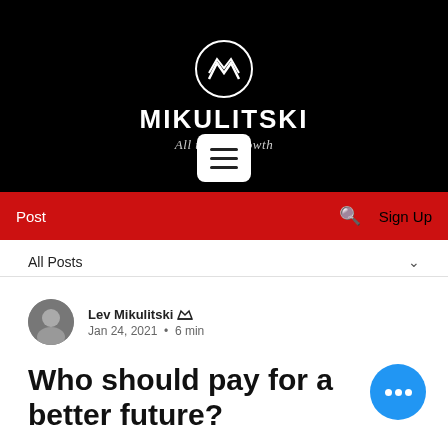MIKULITSKI — All things growth
[Figure (logo): Mikulitski brand logo with circular emblem containing M chevron, brand name MIKULITSKI in bold white, tagline 'All things growth' in italic, and hamburger menu button on black background]
Post  🔍  Sign Up
All Posts
Lev Mikulitski  Admin crown icon
Jan 24, 2021  •  6 min
Who should pay for a better future?